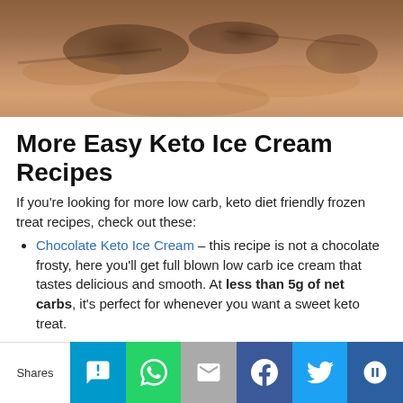[Figure (photo): Close-up photo of chocolate keto ice cream, brown textured surface]
More Easy Keto Ice Cream Recipes
If you're looking for more low carb, keto diet friendly frozen treat recipes, check out these:
Chocolate Keto Ice Cream – this recipe is not a chocolate frosty, here you'll get full blown low carb ice cream that tastes delicious and smooth. At less than 5g of net carbs, it's perfect for whenever you want a sweet keto treat.
Keto Mason Jar Ice Cream – what we love about this low carb recipe is that prep time takes only a few minutes! With
Shares